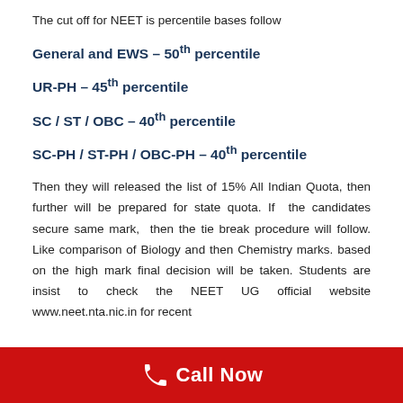The cut off for NEET is percentile bases follow
General and EWS – 50th percentile
UR-PH – 45th percentile
SC / ST / OBC – 40th percentile
SC-PH / ST-PH / OBC-PH – 40th percentile
Then they will released the list of 15% All Indian Quota, then further will be prepared for state quota. If the candidates secure same mark, then the tie break procedure will follow. Like comparison of Biology and then Chemistry marks. based on the high mark final decision will be taken. Students are insist to check the NEET UG official website www.neet.nta.nic.in for recent
Call Now